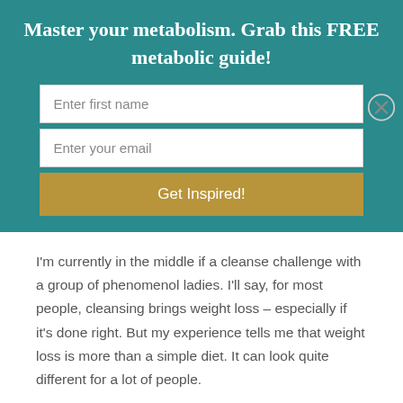Master your metabolism. Grab this FREE metabolic guide!
Enter first name
Enter your email
Get Inspired!
I'm currently in the middle if a cleanse challenge with a group of phenomenol ladies. I'll say, for most people, cleansing brings weight loss – especially if it's done right. But my experience tells me that weight loss is more than a simple diet. It can look quite different for a lot of people.
So many diets fail because they treat us